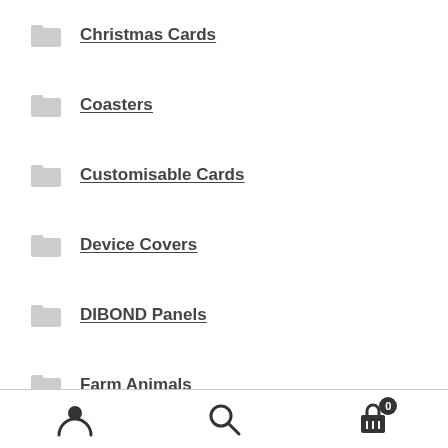Christmas Cards
Coasters
Customisable Cards
Device Covers
DIBOND Panels
Farm Animals
Farming
Fine Art Prints
Flowers
Fridge Magnets
Greeting Card Packs
User | Search | Cart (0)